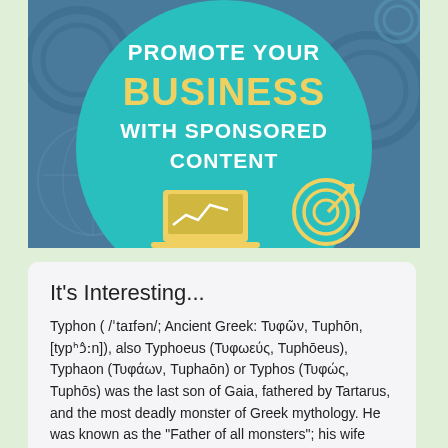[Figure (illustration): Advertisement banner with teal/blue background showing a large teal circle with text 'PROMOTE YOUR BUSINESS WITH SPONSORED CONTENT' and icons of a laptop, chart, and target with arrow.]
It's Interesting...
Typhon ( /ˈtaɪfən/; Ancient Greek: Τυφῶν, Tuphōn, [typʰɔ̂ːn]), also Typhoeus (Τυφωεύς, Tuphōeus), Typhaon (Τυφάων, Tuphaōn) or Typhos (Τυφώς, Tuphōs) was the last son of Gaia, fathered by Tartarus, and the most deadly monster of Greek mythology. He was known as the "Father of all monsters"; his wife Echidna was